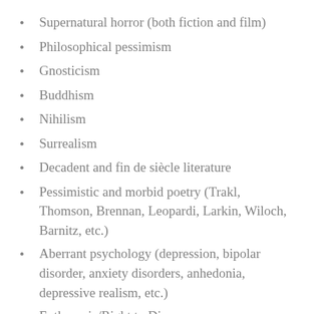Supernatural horror (both fiction and film)
Philosophical pessimism
Gnosticism
Buddhism
Nihilism
Surrealism
Decadent and fin de siècle literature
Pessimistic and morbid poetry (Trakl, Thomson, Brennan, Leopardi, Larkin, Wiloch, Barnitz, etc.)
Aberrant psychology (depression, bipolar disorder, anxiety disorders, anhedonia, depressive realism, etc.)
Euthanasia/Right to Die
Horror in the visual arts
Antinatalism
L'école belge de l'étrange
Consumerist de-relation